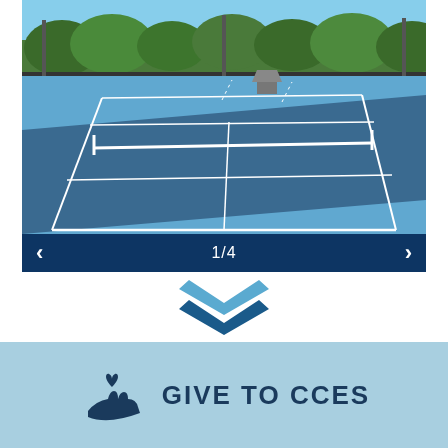[Figure (photo): Outdoor blue tennis courts with white lines, green trees in background, under blue sky]
1/4
[Figure (illustration): Blue double chevron/down-arrow icon pointing downward]
[Figure (illustration): Dark blue hand holding a heart icon representing donation/giving]
GIVE TO CCES